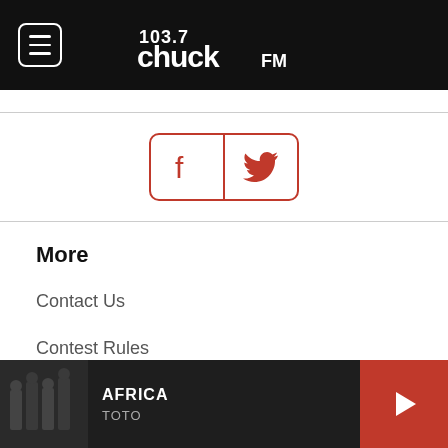103.7 Chuck FM
[Figure (other): Social media icons: Facebook and Twitter in red bordered rounded rectangle]
More
Contact Us
Contest Rules
Work With Us
WXKT Public File
AFRICA - TOTO